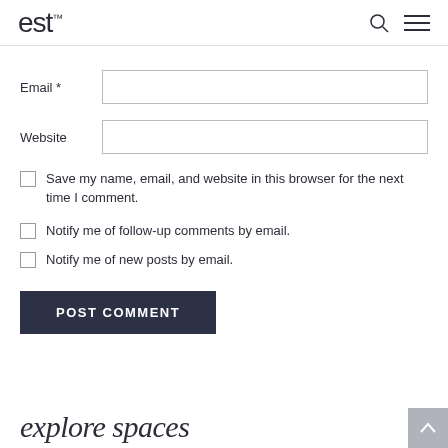est
Email *
Website
Save my name, email, and website in this browser for the next time I comment.
Notify me of follow-up comments by email.
Notify me of new posts by email.
POST COMMENT
explore spaces